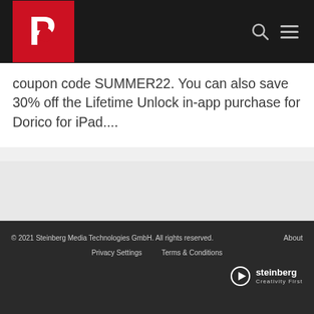[Figure (logo): Red square logo with white letter P, on dark header bar]
coupon code SUMMER22. You can also save 30% off the Lifetime Unlock in-app purchase for Dorico for iPad....
© 2021 Steinberg Media Technologies GmbH. All rights reserved.   About   Privacy Settings   Terms & Conditions